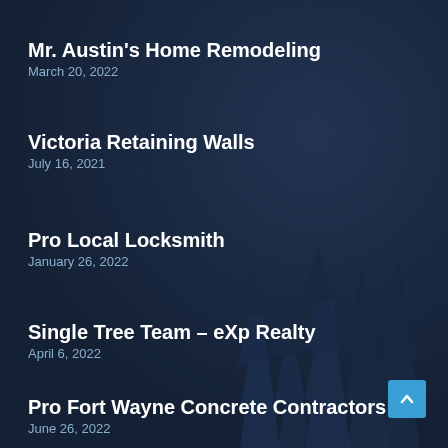Mr. Austin's Home Remodeling
March 20, 2022
Victoria Retaining Walls
July 16, 2021
Pro Local Locksmith
January 26, 2022
Single Tree Team – eXp Realty
April 6, 2022
Pro Fort Wayne Concrete Contractors
June 26, 2022